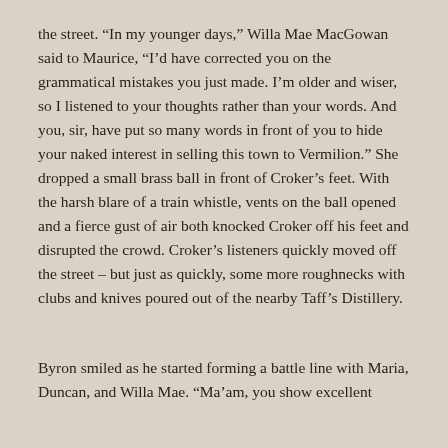the street. “In my younger days,” Willa Mae MacGowan said to Maurice, “I’d have corrected you on the grammatical mistakes you just made. I’m older and wiser, so I listened to your thoughts rather than your words. And you, sir, have put so many words in front of you to hide your naked interest in selling this town to Vermilion.” She dropped a small brass ball in front of Croker’s feet. With the harsh blare of a train whistle, vents on the ball opened and a fierce gust of air both knocked Croker off his feet and disrupted the crowd. Croker’s listeners quickly moved off the street – but just as quickly, some more roughnecks with clubs and knives poured out of the nearby Taff’s Distillery.
Byron smiled as he started forming a battle line with Maria, Duncan, and Willa Mae. “Ma’am, you show excellent